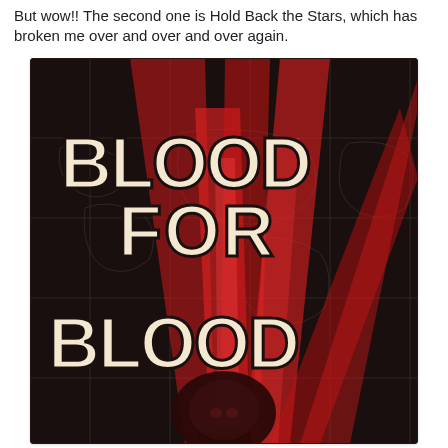But wow!! The second one is Hold Back the Stars, which has broken me over and over and over again.
[Figure (illustration): Book cover for 'Blood for Blood' featuring bold cream-colored retro block lettering on a dark background with red dramatic light beams and a dark figure at the bottom. A world map is faintly visible in the background.]